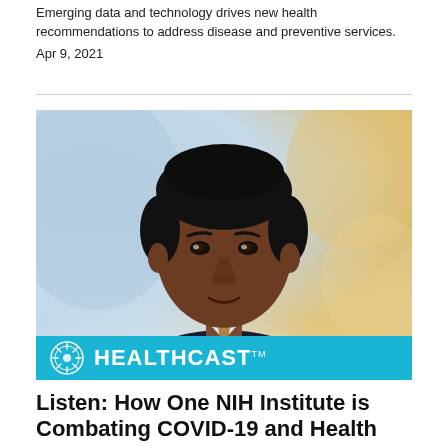Emerging data and technology drives new health recommendations to address disease and preventive services.
Apr 9, 2021
[Figure (photo): Professional headshot of a Black male physician/researcher in a dark suit and tie, with a blurred blue and warm bokeh background. A cyan HEALTHCAST banner overlays the bottom of the image.]
Listen: How One NIH Institute is Combating COVID-19 and Health